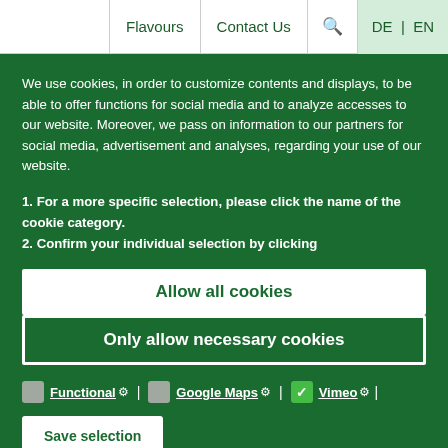Flavours | Contact Us | 🔍 | DE | EN
We use cookies, in order to customize contents and displays, to be able to offer functions for social media and to analyze accesses to our website. Moreover, we pass on information to our partners for social media, advertisement and analyses, regarding your use of our website.
1. For a more specific selection, please click the name of the cookie category.
2. Confirm your individual selection by clicking
Allow all cookies
Only allow necessary cookies
Functional ⚙ | Google Maps ⚙ | Vimeo ⚙
Save selection